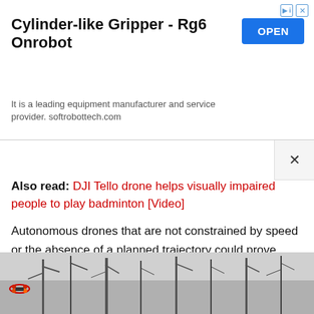[Figure (screenshot): Advertisement banner for Cylinder-like Gripper - Rg6 Onrobot with OPEN button. Text: 'It is a leading equipment manufacturer and service provider. softrobottech.com']
Also read: DJI Tello drone helps visually impaired people to play badminton [Video]
Autonomous drones that are not constrained by speed or the absence of a planned trajectory could prove useful in emergencies, on construction sites, or for security applications.
[Figure (photo): Black and white photo of bare winter trees, with a colorful drone visible on the left side.]